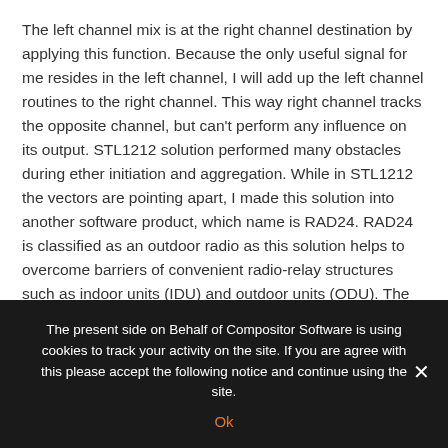The left channel mix is at the right channel destination by applying this function. Because the only useful signal for me resides in the left channel, I will add up the left channel routines to the right channel. This way right channel tracks the opposite channel, but can't perform any influence on its output. STL1212 solution performed many obstacles during ether initiation and aggregation. While in STL1212 the vectors are pointing apart, I made this solution into another software product, which name is RAD24. RAD24 is classified as an outdoor radio as this solution helps to overcome barriers of convenient radio-relay structures such as indoor units (IDU) and outdoor units (ODU). The solution helps to run the outdoor radio inside ones apartment or studio. The intertwining of two channels by parallel injection of left channel into the right
The present side on Behalf of Compositor Software is using cookies to track your activity on the site. If you are agree with this please accept the following notice and continue using the site.
Ok